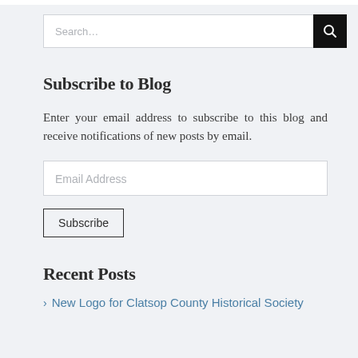[Figure (screenshot): Search bar with text input and black search button icon]
Subscribe to Blog
Enter your email address to subscribe to this blog and receive notifications of new posts by email.
[Figure (screenshot): Email Address input field]
[Figure (screenshot): Subscribe button]
Recent Posts
New Logo for Clatsop County Historical Society